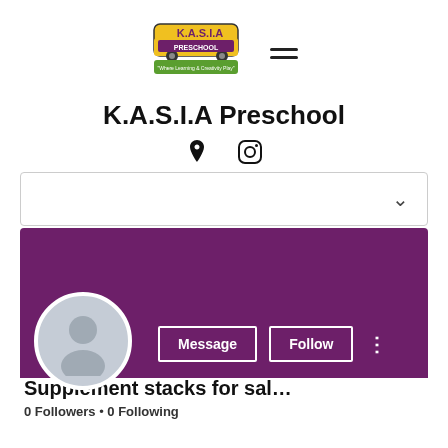[Figure (logo): K.A.S.I.A Preschool logo with hamburger menu icon]
K.A.S.I.A Preschool
[Figure (screenshot): Social media profile page showing a purple banner, default avatar, Message and Follow buttons, profile name 'Supplement stacks for sal...', and 0 Followers • 0 Following]
Supplement stacks for sal…
0 Followers • 0 Following